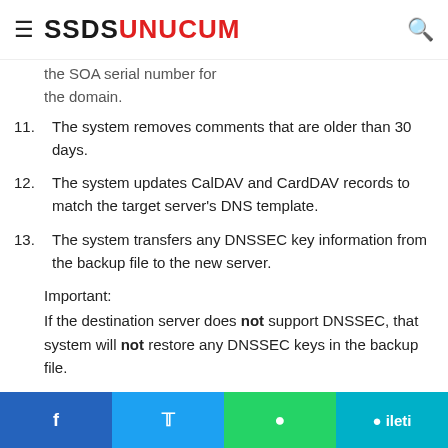≡ SSDSUNUCUM 🔍
IP address to use the account's new IP address... the SOA serial number for the domain.
11. The system removes comments that are older than 30 days.
12. The system updates CalDAV and CardDAV records to match the target server's DNS template.
13. The system transfers any DNSSEC key information from the backup file to the new server.
Important:
If the destination server does not support DNSSEC, that system will not restore any DNSSEC keys in the backup file.
Facebook  Twitter  WhatsApp  ileti